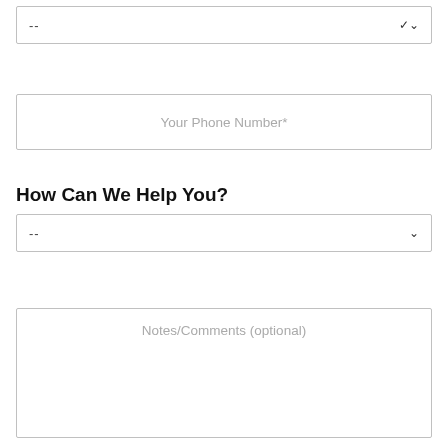--
Your Phone Number*
How Can We Help You?
--
Notes/Comments (optional)